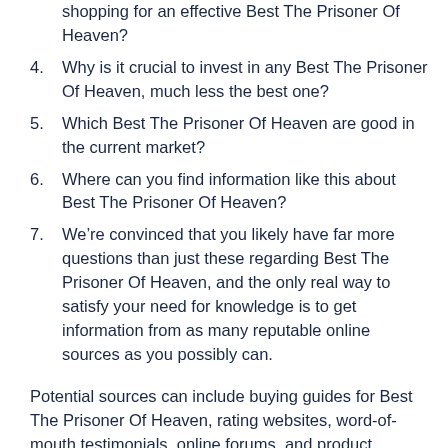shopping for an effective Best The Prisoner Of Heaven?
4. Why is it crucial to invest in any Best The Prisoner Of Heaven, much less the best one?
5. Which Best The Prisoner Of Heaven are good in the current market?
6. Where can you find information like this about Best The Prisoner Of Heaven?
7. We’re convinced that you likely have far more questions than just these regarding Best The Prisoner Of Heaven, and the only real way to satisfy your need for knowledge is to get information from as many reputable online sources as you possibly can.
Potential sources can include buying guides for Best The Prisoner Of Heaven, rating websites, word-of-mouth testimonials, online forums, and product reviews. Thorough and mindful research is crucial to